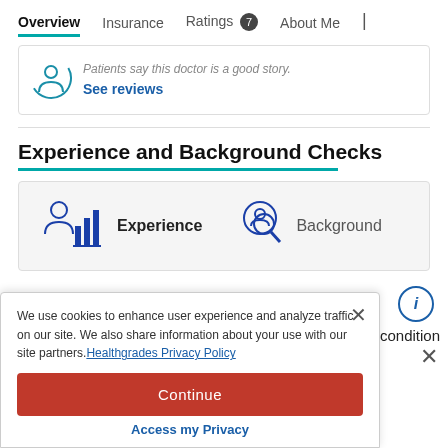Overview  Insurance  Ratings 7  About Me
Patients say this doctor is a good story. See reviews
Experience and Background Checks
[Figure (infographic): Two icons side by side in a gray box: left shows a doctor/chart icon with bar chart labeled 'Experience', right shows a person with magnifying glass labeled 'Background']
We use cookies to enhance user experience and analyze traffic on our site. We also share information about your use with our site partners. Healthgrades Privacy Policy
Continue
Access my Privacy